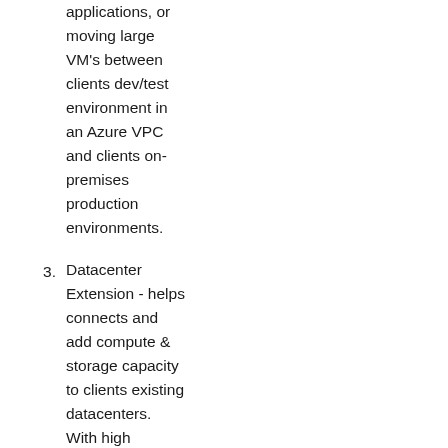applications, or moving large VM's between clients dev/test environment in an Azure VPC and clients on-premises production environments.
3. Datacenter Extension - helps connects and add compute & storage capacity to clients existing datacenters. With high throughput and low latencies, it feels like a natural extension